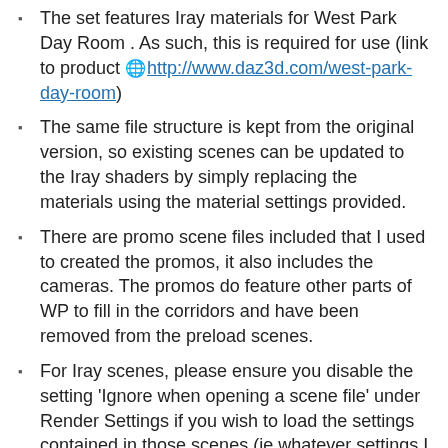The set features Iray materials for West Park Day Room . As such, this is required for use (link to product 🌐 http://www.daz3d.com/west-park-day-room)
The same file structure is kept from the original version, so existing scenes can be updated to the Iray shaders by simply replacing the materials using the material settings provided.
There are promo scene files included that I used to created the promos, it also includes the cameras. The promos do feature other parts of WP to fill in the corridors and have been removed from the preload scenes.
For Iray scenes, please ensure you disable the setting 'Ignore when opening a scene file' under Render Settings if you wish to load the settings contained in those scenes (ie whatever settings I personally use for that particular scene).
Additional Details